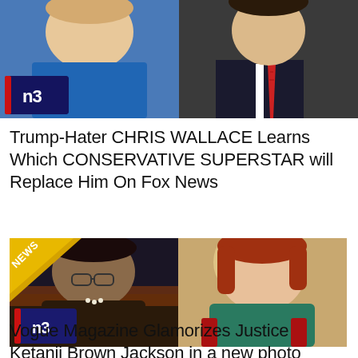[Figure (photo): Top image strip showing two people: a woman in a blue top on the left and a man in a suit with a red tie on the right. NB (NewsBusters) logo overlay on left side.]
Trump-Hater CHRIS WALLACE Learns Which CONSERVATIVE SUPERSTAR will Replace Him On Fox News
[Figure (photo): Two women side by side: on left, a Black woman in a dark coat (Justice Ketanji Brown Jackson); on right, a red-haired woman in a teal/green top. NEWS badge in top-left corner, NB (NewsBusters) logo overlay in bottom-left.]
Vogue Magazine Glamorizes Justice Ketanji Brown Jackson in a new photo shoot